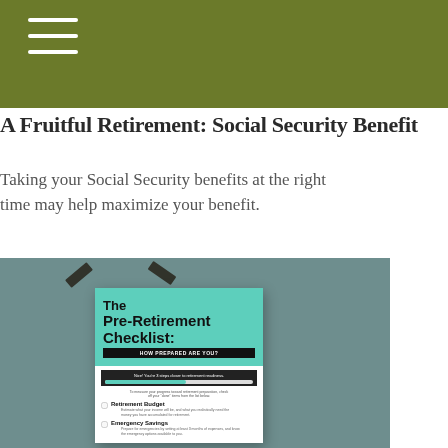A Fruitful Retirement: Social Security Benefit
Taking your Social Security benefits at the right time may help maximize your benefit.
[Figure (photo): A photo of a Pre-Retirement Checklist document pinned with tape against a teal-grey background. The checklist shows a progress bar and items including Retirement Budget and Emergency Savings.]